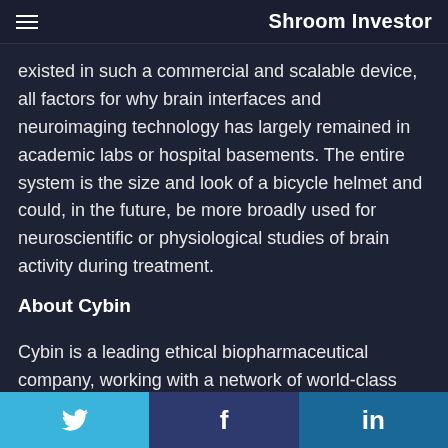Shroom Investor
existed in such a commercial and scalable device, all factors for why brain interfaces and neuroimaging technology has largely remained in academic labs or hospital basements. The entire system is the size and look of a bicycle helmet and could, in the future, be more broadly used for neuroscientific or physiological studies of brain activity during treatment.
About Cybin
Cybin is a leading ethical biopharmaceutical company, working with a network of world-class
Twitter | Facebook | LinkedIn